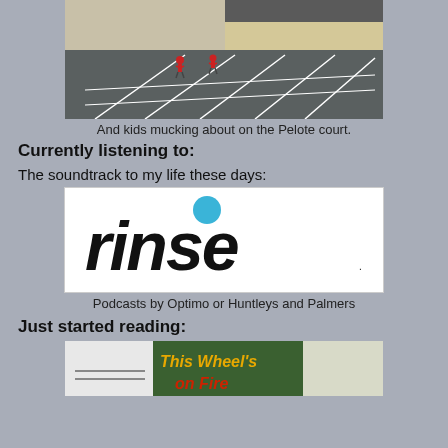[Figure (photo): Two kids playing on a Pelote court, large empty asphalt area with white lines, tan building wall in background]
And kids mucking about on the Pelote court.
Currently listening to:
The soundtrack to my life these days:
[Figure (logo): Rinse FM logo — bold black italic text 'rinse' with a blue circle dot above the 'i', on white background]
Podcasts by Optimo or Huntleys and Palmers
Just started reading:
[Figure (photo): Book cover partially visible showing 'This Wheel's on Fire' text in orange/yellow on green background]